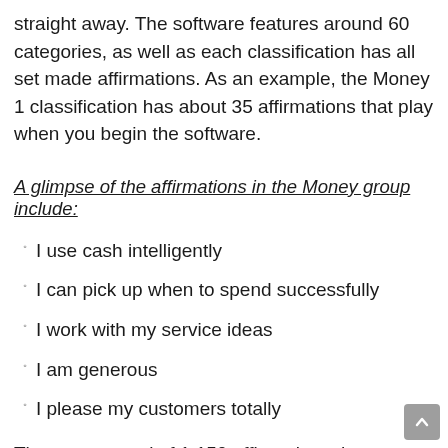straight away. The software features around 60 categories, as well as each classification has all set made affirmations. As an example, the Money 1 classification has about 35 affirmations that play when you begin the software.
A glimpse of the affirmations in the Money group include:
I use cash intelligently
I can pick up when to spend successfully
I work with my service ideas
I am generous
I please my customers totally
There are a total of 1,150 affirmations that are included in